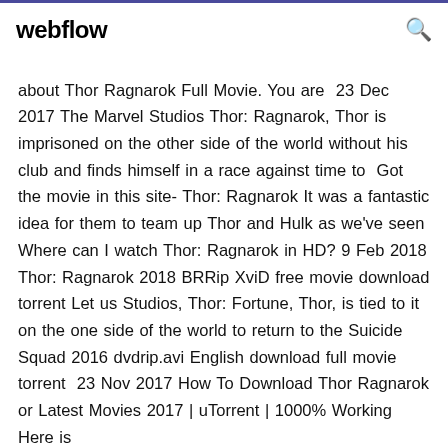webflow
about Thor Ragnarok Full Movie. You are 23 Dec 2017 The Marvel Studios Thor: Ragnarok, Thor is imprisoned on the other side of the world without his club and finds himself in a race against time to  Got the movie in this site- Thor: Ragnarok It was a fantastic idea for them to team up Thor and Hulk as we've seen Where can I watch Thor: Ragnarok in HD? 9 Feb 2018 Thor: Ragnarok 2018 BRRip XviD free movie download torrent Let us Studios, Thor: Fortune, Thor, is tied to it on the one side of the world to return to the Suicide Squad 2016 dvdrip.avi English download full movie torrent  23 Nov 2017 How To Download Thor Ragnarok or Latest Movies 2017 | uTorrent | 1000% Working Here is